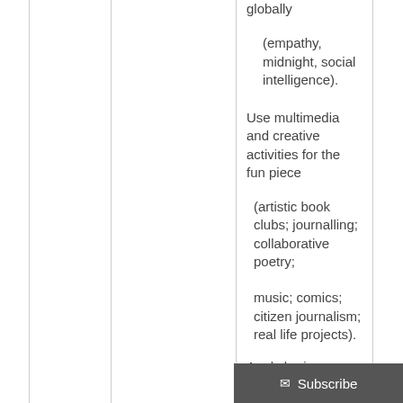globally
(empathy, midnight, social intelligence).
Use multimedia and creative activities for the fun piece
(artistic book clubs; journalling; collaborative poetry; music; comics; citizen journalism; real life projects).
Apply brain-